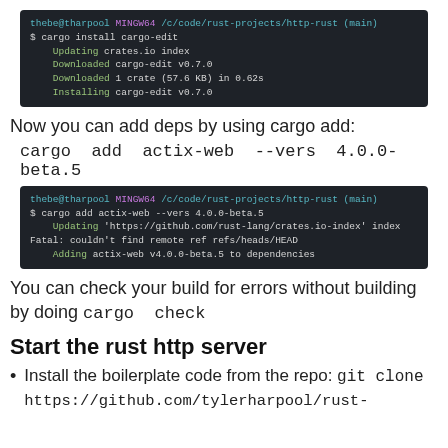[Figure (screenshot): Terminal screenshot showing cargo install cargo-edit command with output: Updating crates.io index, Downloaded cargo-edit v0.7.0, Downloaded 1 crate (57.6 KB) in 0.62s, Installing cargo-edit v0.7.0]
Now you can add deps by using cargo add:
cargo add actix-web --vers 4.0.0-beta.5
[Figure (screenshot): Terminal screenshot showing cargo add actix-web --vers 4.0.0-beta.5 command with output: Updating 'https://github.com/rust-lang/crates.io-index' index, Fatal: couldn't find remote ref refs/heads/HEAD, Adding actix-web v4.0.0-beta.5 to dependencies]
You can check your build for errors without building by doing cargo check
Start the rust http server
Install the boilerplate code from the repo: git clone https://github.com/tylerharpool/rust-